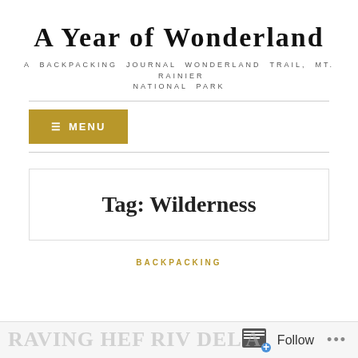A YEAR OF WONDERLAND
A BACKPACKING JOURNAL WONDERLAND TRAIL, MT. RAINIER NATIONAL PARK
≡ MENU
Tag: Wilderness
BACKPACKING
Follow ...